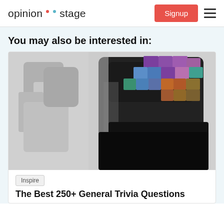opinion stage | Signup
You may also be interested in:
[Figure (photo): Blurred pixelated image of a human head silhouette with colorful brain visualization (purple, blue, teal, orange colors) on the right side against a dark background]
Inspire
The Best 250+ General Trivia Questions